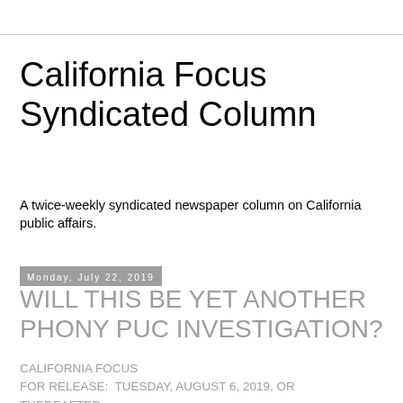California Focus Syndicated Column
A twice-weekly syndicated newspaper column on California public affairs.
Monday, July 22, 2019
WILL THIS BE YET ANOTHER PHONY PUC INVESTIGATION?
CALIFORNIA FOCUS
FOR RELEASE:  TUESDAY, AUGUST 6, 2019, OR THEREAFTER